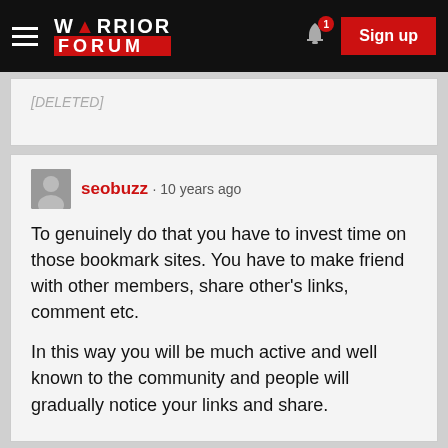WARRIOR FORUM — Sign up
[DELETED]
seobuzz · 10 years ago
To genuinely do that you have to invest time on those bookmark sites. You have to make friend with other members, share other's links, comment etc.

In this way you will be much active and well known to the community and people will gradually notice your links and share.